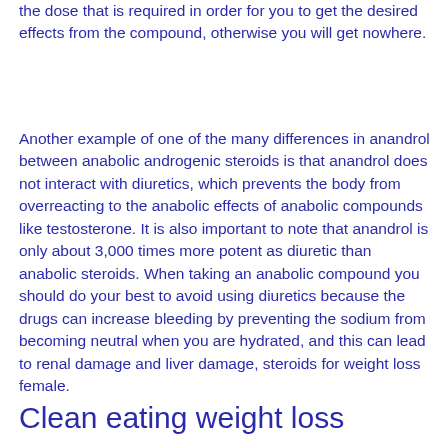the dose that is required in order for you to get the desired effects from the compound, otherwise you will get nowhere.
Another example of one of the many differences in anandrol between anabolic androgenic steroids is that anandrol does not interact with diuretics, which prevents the body from overreacting to the anabolic effects of anabolic compounds like testosterone. It is also important to note that anandrol is only about 3,000 times more potent as diuretic than anabolic steroids. When taking an anabolic compound you should do your best to avoid using diuretics because the drugs can increase bleeding by preventing the sodium from becoming neutral when you are hydrated, and this can lead to renal damage and liver damage, steroids for weight loss female.
Clean eating weight loss